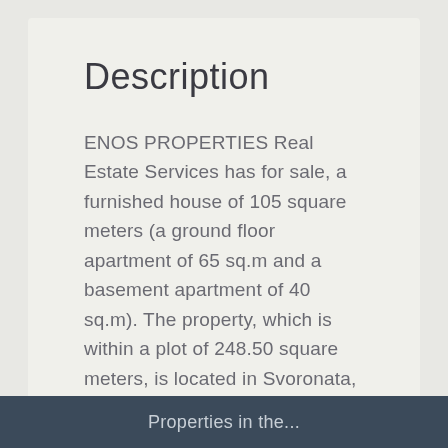Description
ENOS PROPERTIES Real Estate Services has for sale, a furnished house of 105 square meters (a ground floor apartment of 65 sq.m and a basement apartment of 40 sq.m). The property, which is within a plot of 248.50 square meters, is located in Svoronata, on the island of Kefalonia,
Properties in the...